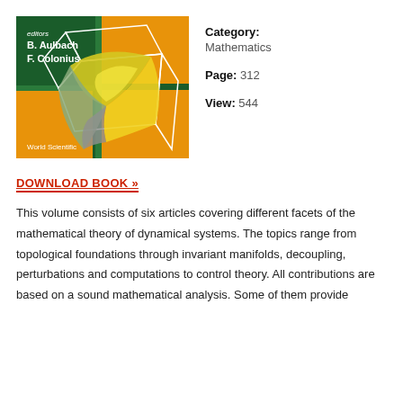[Figure (illustration): Book cover with dark green and orange background featuring a 3D geometric shape with yellow-green curved surfaces inside a white wireframe cube. Text reads: editors B. Aulbach, F. Colonius, World Scientific]
Category: Mathematics
Page: 312
View: 544
DOWNLOAD BOOK »
This volume consists of six articles covering different facets of the mathematical theory of dynamical systems. The topics range from topological foundations through invariant manifolds, decoupling, perturbations and computations to control theory. All contributions are based on a sound mathematical analysis. Some of them provide